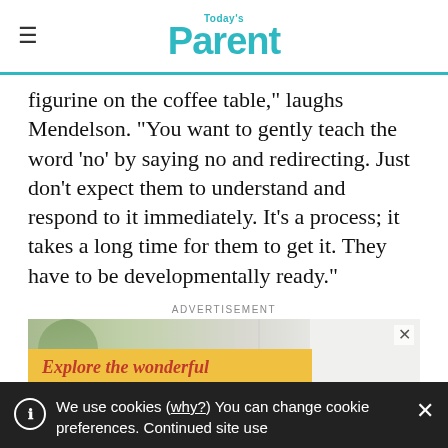Today's Parent
figurine on the coffee table,” laughs Mendelson. “You want to gently teach the word ‘no’ by saying no and redirecting. Just don’t expect them to understand and respond to it immediately. It’s a process; it takes a long time for them to get it. They have to be developmentally ready.”
ADVERTISEMENT
[Figure (illustration): Advertisement banner with yellow background text reading 'Explore the wonderful' in italic red font, with plant and furniture imagery, and a close (X) button.]
We use cookies (why?) You can change cookie preferences. Continued site use